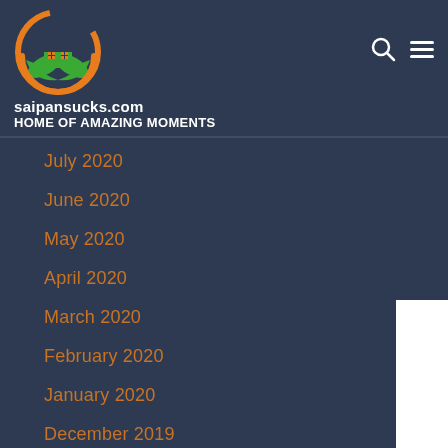saipansucks.com HOME OF AMAZING MOMENTS
July 2020
June 2020
May 2020
April 2020
March 2020
February 2020
January 2020
December 2019
November 2019
October 2019
September 2019